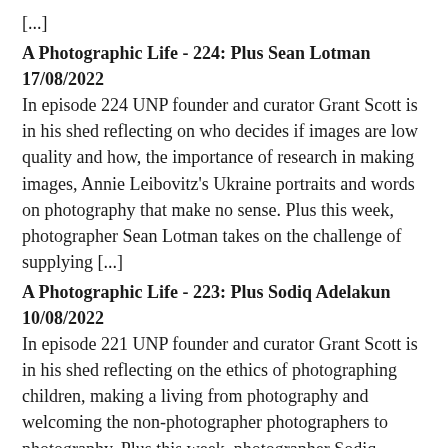[...]
A Photographic Life - 224: Plus Sean Lotman 17/08/2022
In episode 224 UNP founder and curator Grant Scott is in his shed reflecting on who decides if images are low quality and how, the importance of research in making images, Annie Leibovitz's Ukraine portraits and words on photography that make no sense. Plus this week, photographer Sean Lotman takes on the challenge of supplying [...]
A Photographic Life - 223: Plus Sodiq Adelakun 10/08/2022
In episode 221 UNP founder and curator Grant Scott is in his shed reflecting on the ethics of photographing children, making a living from photography and welcoming the non-photographer photographers to photography. Plus this week, photographer Sodiq Adelakun takes on the challenge of supplying Grant with an audio file no longer than 5 minutes in [...]
A Photographic Life - 222: Desert Island Photo Book Special Part 2 03/08/2022